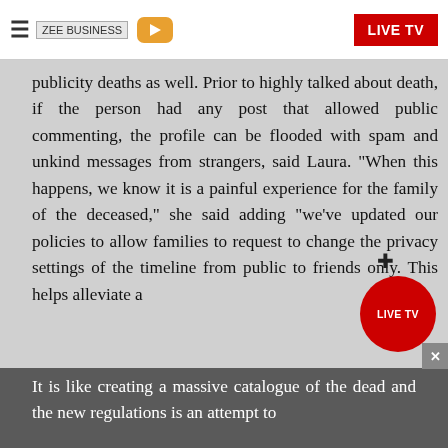ZEE BUSINESS | LIVE TV
publicity deaths as well. Prior to highly talked about death, if the person had any post that allowed public commenting, the profile can be flooded with spam and unkind messages from strangers, said Laura. "When this happens, we know it is a painful experience for the family of the deceased," she said adding "we've updated our policies to allow families to request to change the privacy settings of the timeline from public to friends only. This helps alleviate a
Facebook began profiles to be memoralised and users can also pay tributes to the deceased. It is like creating a massive catalogue of the dead and the new regulations is an attempt to